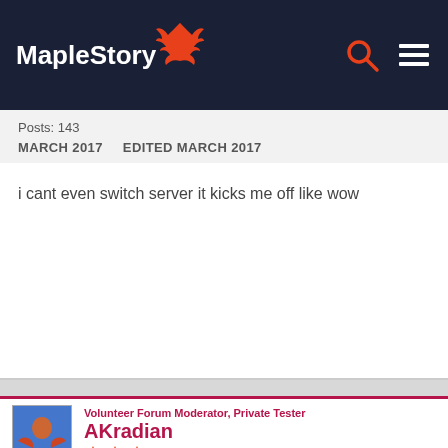MapleStory
Posts: 143
MARCH 2017   EDITED MARCH 2017
i cant even switch server it kicks me off like wow
Volunteer Forum Moderator, Private Tester
AKradian
Reactions: 39,865
Posts: 6,275
MARCH 2017   EDITED MARCH 2017